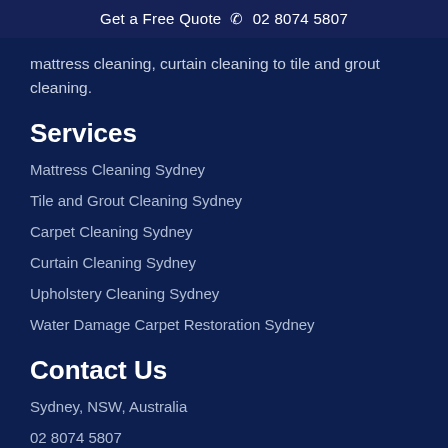Get a Free Quote ☎ 02 8074 5807
mattress cleaning, curtain cleaning to tile and grout cleaning.
Services
Mattress Cleaning Sydney
Tile and Grout Cleaning Sydney
Carpet Cleaning Sydney
Curtain Cleaning Sydney
Upholstery Cleaning Sydney
Water Damage Carpet Restoration Sydney
Contact Us
Sydney, NSW, Australia
02 8074 5807